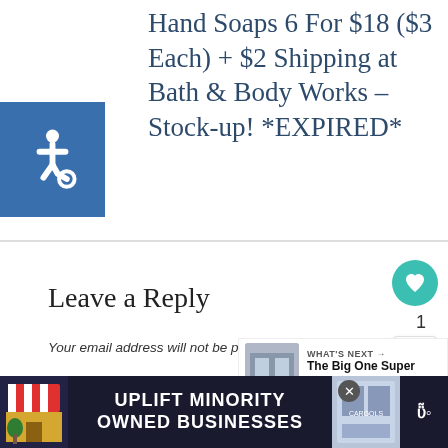Hand Soaps 6 For $18 ($3 Each) + $2 Shipping at Bath & Body Works – Stock-up! *EXPIRED*
[Figure (logo): Wheelchair accessibility icon — white figure on blue background]
Leave a Reply
Your email address will not be published. Required fields are marked *
WHAT'S NEXT → The Big One Super Plush...
[Figure (infographic): Advertisement banner: UPLIFT MINORITY OWNED BUSINESSES on dark background with store illustration]